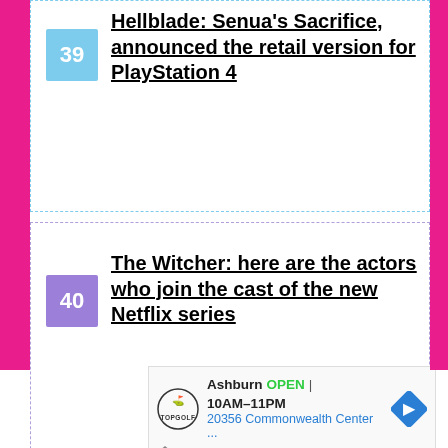39 Hellblade: Senua's Sacrifice, announced the retail version for PlayStation 4
40 The Witcher: here are the actors who join the cast of the new Netflix series
41 Borderlands 2 VR officially announced for PlayStation VR
[Figure (other): Advertisement banner for Topgolf Ashburn showing OPEN 10AM-11PM, address 20356 Commonwealth Center..., with Topgolf logo and navigation arrow icon]